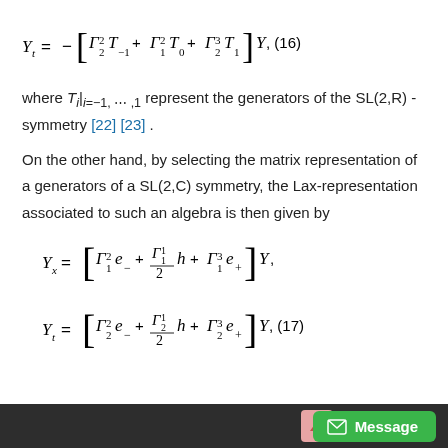where T_i|_{i=-1,\cdots,1} represent the generators of the SL(2,R) - symmetry [22] [23].
On the other hand, by selecting the matrix representation of a generators of a SL(2,C) symmetry, the Lax-representation associated to such an algebra is then given by